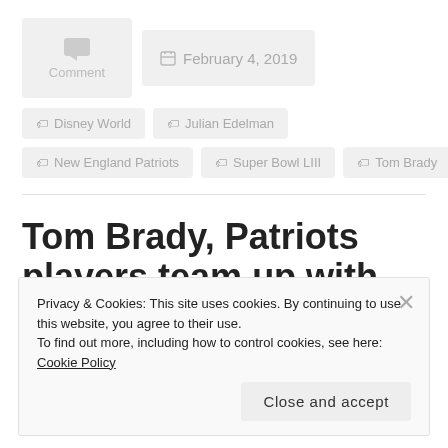[Figure (other): Comment icon box with speech bubble icon and 'Comment' label]
February 4, 2019
Disney World
Julian Edelman
New England Patriots
Super Bowl LIII
Tom Brady
Tom Brady, Patriots players team up with
Privacy & Cookies: This site uses cookies. By continuing to use this website, you agree to their use.
To find out more, including how to control cookies, see here: Cookie Policy
Close and accept